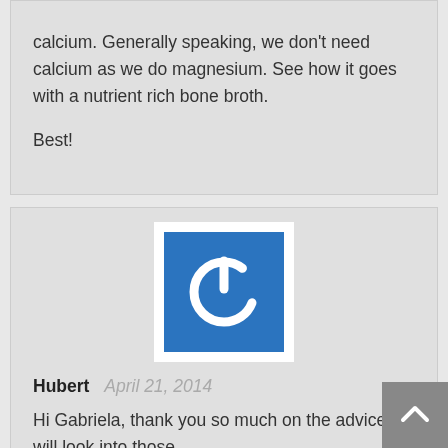calcium. Generally speaking, we don't need calcium as we do magnesium. See how it goes with a nutrient rich bone broth.

Best!
[Figure (logo): Blue square with white power button icon, inside white border — user avatar]
Hubert   April 21, 2014
Hi Gabriela, thank you so much on the advices, I will look into those. Regarding raising the blood pressure with the salt intake, can I just put in 1/4 to 1/2